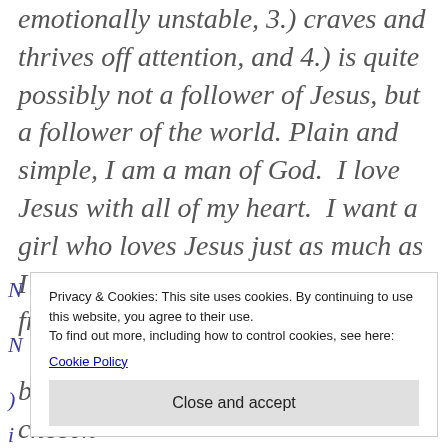emotionally unstable, 3.) craves and thrives off attention, and 4.) is quite possibly not a follower of Jesus, but a follower of the world. Plain and simple, I am a man of God.  I love Jesus with all of my heart.  I want a girl who loves Jesus just as much as I do.  I am certain that modesty is a fruit of loving Jesus. –Mike
Privacy & Cookies: This site uses cookies. By continuing to use this website, you agree to their use.
To find out more, including how to control cookies, see here:
Cookie Policy
Close and accept
be a self and know that God has chosen